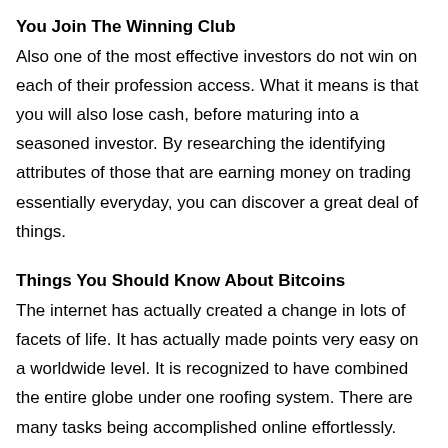You Join The Winning Club
Also one of the most effective investors do not win on each of their profession access. What it means is that you will also lose cash, before maturing into a seasoned investor. By researching the identifying attributes of those that are earning money on trading essentially everyday, you can discover a great deal of things.
Things You Should Know About Bitcoins
The internet has actually created a change in lots of facets of life. It has actually made points very easy on a worldwide level. It is recognized to have combined the entire globe under one roofing system. There are many tasks being accomplished online effortlessly. One such prominent systems online is the introduction of Bitcoins system. It ends up being the new age online payment system that has been